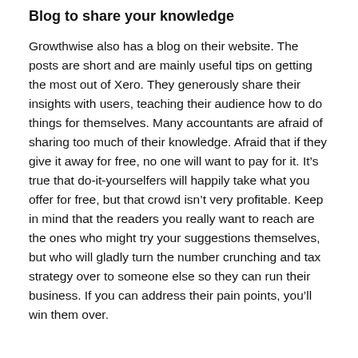Blog to share your knowledge
Growthwise also has a blog on their website. The posts are short and are mainly useful tips on getting the most out of Xero. They generously share their insights with users, teaching their audience how to do things for themselves. Many accountants are afraid of sharing too much of their knowledge. Afraid that if they give it away for free, no one will want to pay for it. It’s true that do-it-yourselfers will happily take what you offer for free, but that crowd isn’t very profitable. Keep in mind that the readers you really want to reach are the ones who might try your suggestions themselves, but who will gladly turn the number crunching and tax strategy over to someone else so they can run their business. If you can address their pain points, you’ll win them over.